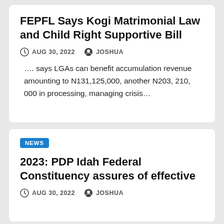FEPFL Says Kogi Matrimonial Law and Child Right Supportive Bill
AUG 30, 2022   JOSHUA
…. says LGAs can benefit accumulation revenue amounting to N131,125,000, another N203, 210, 000 in processing, managing crisis…
NEWS
2023: PDP Idah Federal Constituency assures of effective
AUG 30, 2022   JOSHUA